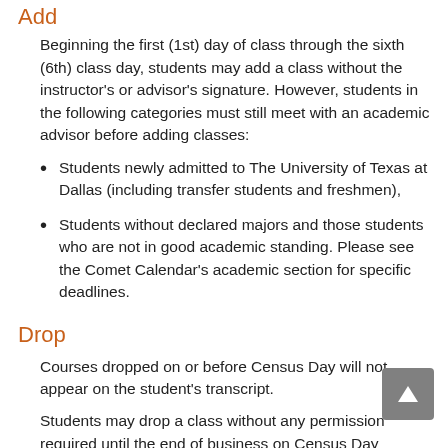Add
Beginning the first (1st) day of class through the sixth (6th) class day, students may add a class without the instructor's or advisor's signature. However, students in the following categories must still meet with an academic advisor before adding classes:
Students newly admitted to The University of Texas at Dallas (including transfer students and freshmen),
Students without declared majors and those students who are not in good academic standing. Please see the Comet Calendar's academic section for specific deadlines.
Drop
Courses dropped on or before Census Day will not appear on the student's transcript.
Students may drop a class without any permission required until the end of business on Census Day